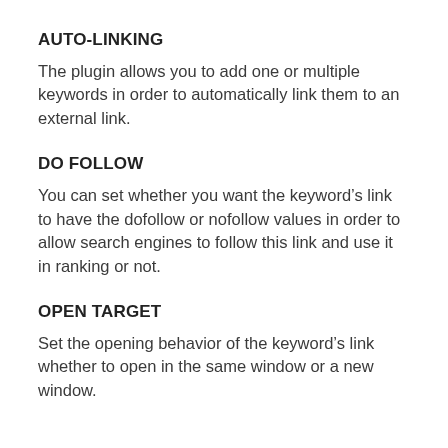AUTO-LINKING
The plugin allows you to add one or multiple keywords in order to automatically link them to an external link.
DO FOLLOW
You can set whether you want the keyword’s link to have the dofollow or nofollow values in order to allow search engines to follow this link and use it in ranking or not.
OPEN TARGET
Set the opening behavior of the keyword’s link whether to open in the same window or a new window.